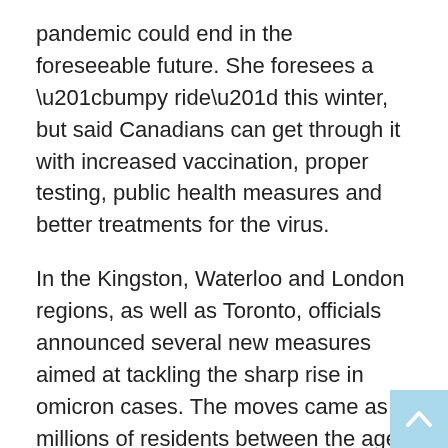pandemic could end in the foreseeable future. She foresees a “bumpy ride” this winter, but said Canadians can get through it with increased vaccination, proper testing, public health measures and better treatments for the virus.
In the Kingston, Waterloo and London regions, as well as Toronto, officials announced several new measures aimed at tackling the sharp rise in omicron cases. The moves came as millions of residents between the ages of 50 and 69 became eligible for COVID-19 boosters and health officials examined the possibility of offering third doses to even more cohorts in the fight against the new variant.
Dr. Piotr Oglaza in the Kingston region said the measures, taking effect at 6 p.m. Monday, were being brought in to buy time and get a sense of omicron’s impact before more measures are potentially brought in.